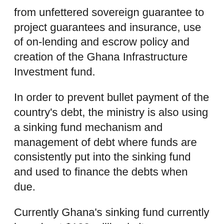from unfettered sovereign guarantee to project guarantees and insurance, use of on-lending and escrow policy and creation of the Ghana Infrastructure Investment fund.
In order to prevent bullet payment of the country's debt, the ministry is also using a sinking fund mechanism and management of debt where funds are consistently put into the sinking fund and used to finance the debts when due.
Currently Ghana's sinking fund currently has about $100 million in it.
Source: GNA